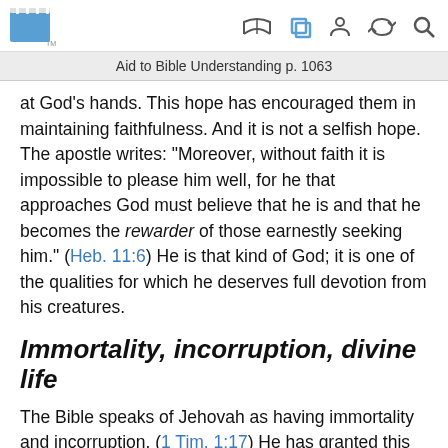Aid to Bible Understanding p. 1063
at God's hands. This hope has encouraged them in maintaining faithfulness. And it is not a selfish hope. The apostle writes: “Moreover, without faith it is impossible to please him well, for he that approaches God must believe that he is and that he becomes the rewarder of those earnestly seeking him.” (Heb. 11:6) He is that kind of God; it is one of the qualities for which he deserves full devotion from his creatures.
Immortality, incorruption, divine life
The Bible speaks of Jehovah as having immortality and incorruption. (1 Tim. 1:17) He has granted this first to his Son. At the time the apostle Paul wrote to Timothy, Christ was the only one having received immortality.